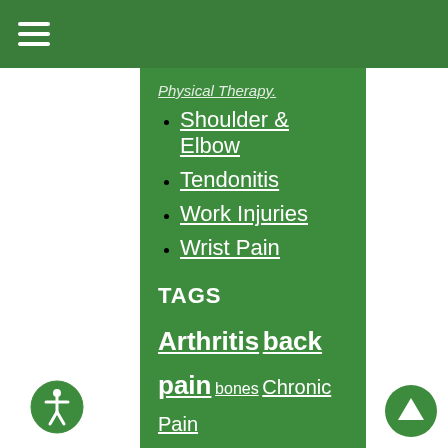≡ (hamburger menu)
Physical Therapy (partial, cut off at top)
Shoulder & Elbow
Tendonitis
Work Injuries
Wrist Pain
TAGS
Arthritis back pain bones Chronic Pain fracture Fractures Hip Hip Fractures hip pain joint pain Low Back Pain lumbar pain Musculoskeletal Injuries orthopedic orthopedic care orthopedic care